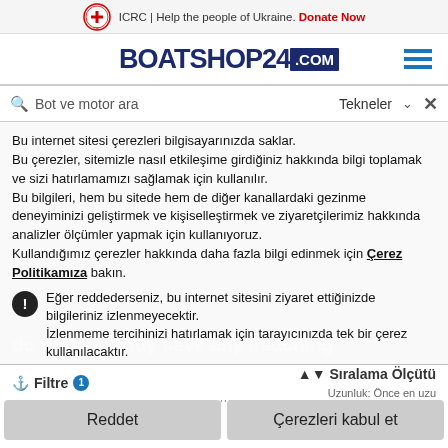ICRC | Help the people of Ukraine. Donate Now
[Figure (logo): BoatShop24.com logo with hamburger menu icon]
Bot ve motor ara  Tekneler
Bu internet sitesi çerezleri bilgisayarınızda saklar. Bu çerezler, sitemizle nasıl etkileşime girdiğiniz hakkında bilgi toplamak ve sizi hatırlamamızı sağlamak için kullanılır. Bu bilgileri, hem bu sitede hem de diğer kanallardaki gezinme deneyiminizi geliştirmek ve kişiselleştirmek ve ziyaretçilerimiz hakkında analizler ölçümler yapmak için kullanıyoruz. Kullandığımız çerezler hakkında daha fazla bilgi edinmek için Çerez Politikamıza bakın.
do not currently have any matching listings. Here are a few listings we think you might like based on your search.
Eğer reddederseniz, bu internet sitesini ziyaret ettiğinizde bilgileriniz izlenmeyecektir. İzlenmeme tercihinizi hatırlamak için tarayıcınızda tek bir çerez kullanılacaktır.
Filtre 1  Sıralama Ölçütü Uzunluk: Önce en uzu
Reddet   Çerezleri kabul et
Aramayı kaydet